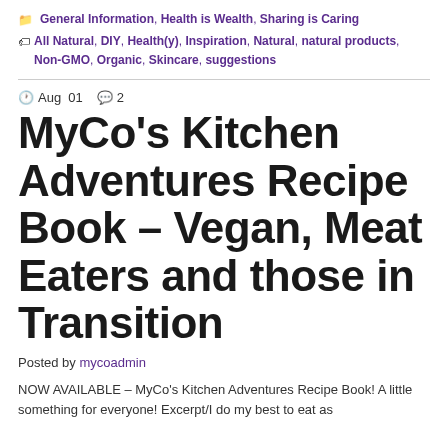General Information, Health is Wealth, Sharing is Caring
All Natural, DIY, Health(y), Inspiration, Natural, natural products, Non-GMO, Organic, Skincare, suggestions
Aug 01  💬 2
MyCo's Kitchen Adventures Recipe Book – Vegan, Meat Eaters and those in Transition
Posted by mycoadmin
NOW AVAILABLE – MyCo's Kitchen Adventures Recipe Book! A little something for everyone! Excerpt/I do my best to eat as…